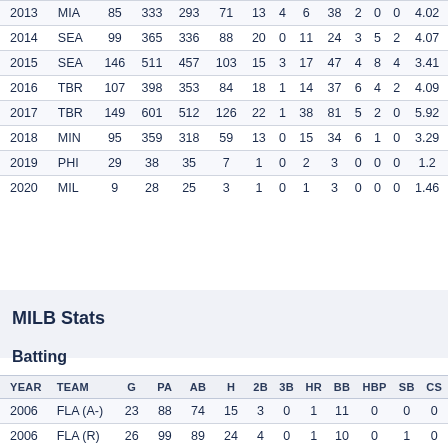| YEAR | TEAM | G | PA | AB | H | 2B | 3B | HR | BB | HBP | SB | CS |  |
| --- | --- | --- | --- | --- | --- | --- | --- | --- | --- | --- | --- | --- | --- |
| 2013 | MIA | 85 | 333 | 293 | 71 | 13 | 4 | 6 | 38 | 2 | 0 | 0 | 4.02 |
| 2014 | SEA | 99 | 365 | 336 | 88 | 20 | 0 | 11 | 24 | 3 | 5 | 2 | 4.07 |
| 2015 | SEA | 146 | 511 | 457 | 103 | 15 | 3 | 17 | 47 | 4 | 8 | 4 | 3.41 |
| 2016 | TBR | 107 | 398 | 353 | 84 | 18 | 1 | 14 | 37 | 6 | 4 | 2 | 4.09 |
| 2017 | TBR | 149 | 601 | 512 | 126 | 22 | 1 | 38 | 81 | 5 | 2 | 0 | 5.92 |
| 2018 | MIN | 95 | 359 | 318 | 59 | 13 | 0 | 15 | 34 | 6 | 1 | 0 | 3.29 |
| 2019 | PHI | 29 | 38 | 35 | 7 | 1 | 0 | 2 | 3 | 0 | 0 | 0 | 1.2 |
| 2020 | MIL | 9 | 28 | 25 | 3 | 1 | 0 | 1 | 3 | 0 | 0 | 0 | 1.46 |
MILB Stats
Batting
| YEAR | TEAM | G | PA | AB | H | 2B | 3B | HR | BB | HBP | SB | CS |
| --- | --- | --- | --- | --- | --- | --- | --- | --- | --- | --- | --- | --- |
| 2006 | FLA (A-) | 23 | 88 | 74 | 15 | 3 | 0 | 1 | 11 | 0 | 0 | 0 |
| 2006 | FLA (R) | 26 | 99 | 89 | 24 | 4 | 0 | 1 | 10 | 0 | 1 | 0 |
| 2007 | FLA (A) | 128 | 513 | 453 | 121 | 22 | 2 | 24 | 48 | 7 | 2 | 2 |